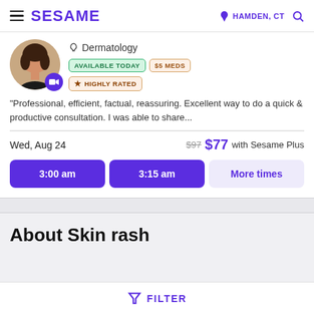SESAME | HAMDEN, CT
Dermatology
AVAILABLE TODAY | $5 MEDS | HIGHLY RATED
"Professional, efficient, factual, reassuring. Excellent way to do a quick & productive consultation. I was able to share...
Wed, Aug 24 | $97 $77 with Sesame Plus
3:00 am | 3:15 am | More times
About Skin rash
FILTER